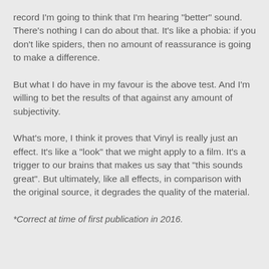record I'm going to think that I'm hearing "better" sound. There's nothing I can do about that. It's like a phobia: if you don't like spiders, then no amount of reassurance is going to make a difference.
But what I do have in my favour is the above test. And I'm willing to bet the results of that against any amount of subjectivity.
What's more, I think it proves that Vinyl is really just an effect. It's like a "look" that we might apply to a film. It's a trigger to our brains that makes us say that "this sounds great". But ultimately, like all effects, in comparison with the original source, it degrades the quality of the material.
*Correct at time of first publication in 2016.